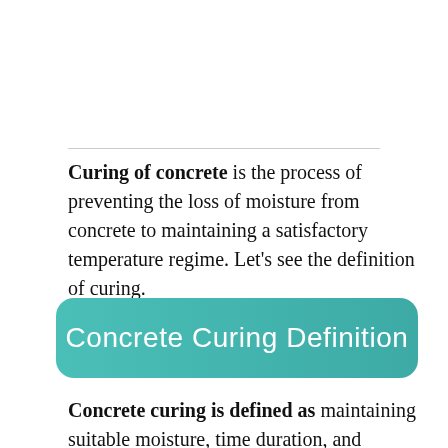Curing of concrete is the process of preventing the loss of moisture from concrete to maintaining a satisfactory temperature regime. Let's see the definition of curing.
Concrete Curing Definition
Concrete curing is defined as maintaining suitable moisture, time duration, and temperature for concrete material so that concrete material able to gain the best desired properties which are meant to achieve by...